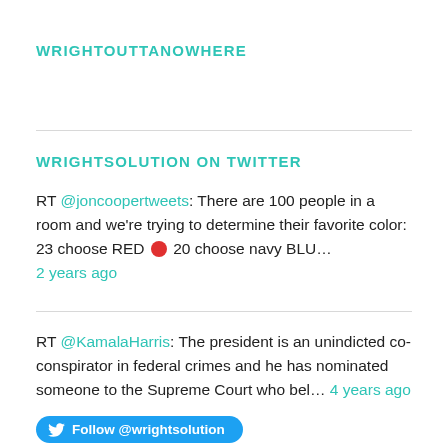WRIGHTOUTTANOWHERE
WRIGHTSOLUTION ON TWITTER
RT @joncoopertweets: There are 100 people in a room and we're trying to determine their favorite color: 23 choose RED 🔴 20 choose navy BLU… 2 years ago
RT @KamalaHarris: The president is an unindicted co-conspirator in federal crimes and he has nominated someone to the Supreme Court who bel… 4 years ago
Follow @wrightsolution